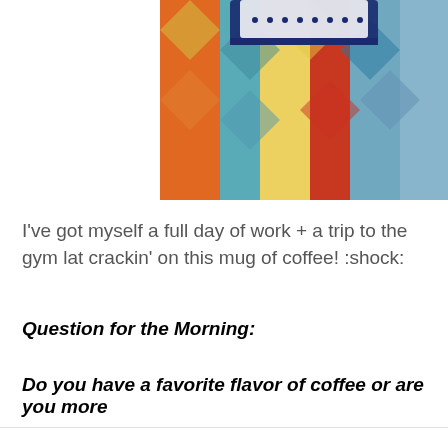[Figure (photo): Partial view of a colorful woven textile with geometric patterns (blue, red, yellow, teal), with the bottom portion of a blue and white ceramic mug/bowl visible at the top.]
I've got myself a full day of work + a trip to the gym lat crackin' on this mug of coffee! :shock:
Question for the Morning:
Do you have a favorite flavor of coffee or are you more